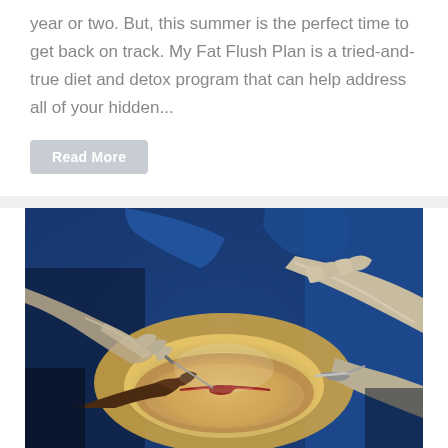year or two. But, this summer is the perfect time to get back on track. My Fat Flush Plan is a tried-and-true diet and detox program that can help address all of your hidden...
Read More
[Figure (photo): Close-up photograph of surgeons in blue scrubs and white latex gloves performing a surgical procedure on a patient. Multiple pairs of hands are visible working on an incision site illuminated by surgical lighting.]